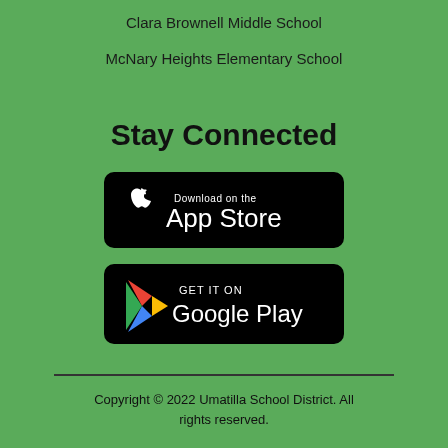Clara Brownell Middle School
McNary Heights Elementary School
Stay Connected
[Figure (logo): Download on the App Store badge - black rounded rectangle with Apple logo and text 'Download on the App Store']
[Figure (logo): Get it on Google Play badge - black rounded rectangle with Google Play triangle logo and text 'GET IT ON Google Play']
Copyright © 2022 Umatilla School District. All rights reserved.